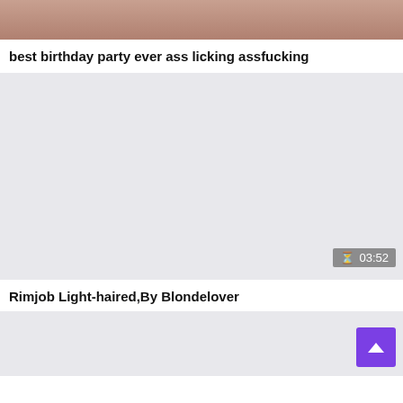[Figure (photo): Top cropped thumbnail image with skin tones visible at top of page]
best birthday party ever ass licking assfucking
[Figure (photo): Video thumbnail placeholder with light gray background and duration badge showing 03:52]
Rimjob Light-haired,By Blondelover
[Figure (photo): Partial bottom video thumbnail with gray background and purple scroll-to-top button]